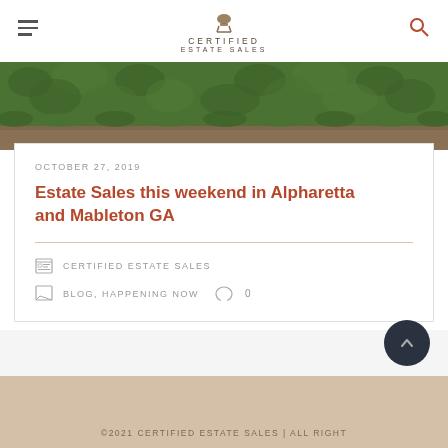Certified Estate Sales — navigation header with hamburger menu and search icon
[Figure (photo): Close-up photo of green hedge/shrubs with dirt ground below]
OCTOBER 27, 2019
Estate Sales this weekend in Alpharetta and Mableton GA
CERTIFIED ESTATE SALES
BLOG, HAPPENING NOW   0
©2021 CERTIFIED ESTATE SALES | ALL RIGHT